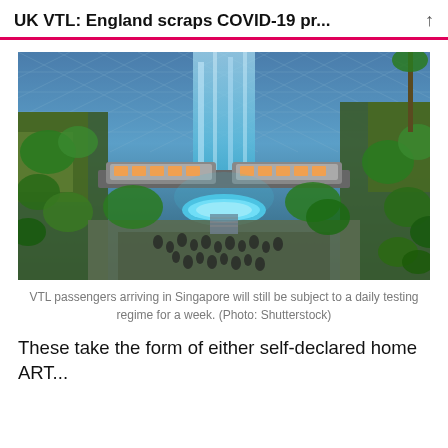UK VTL: England scraps COVID-19 pr...
[Figure (photo): Interior of Jewel Changi Airport in Singapore showing the HSBC Rain Vortex waterfall, lush greenery, a sky train crossing, and visitors below, with a distinctive triangular glass ceiling structure overhead.]
VTL passengers arriving in Singapore will still be subject to a daily testing regime for a week. (Photo: Shutterstock)
These take the form of either self-declared home ART...